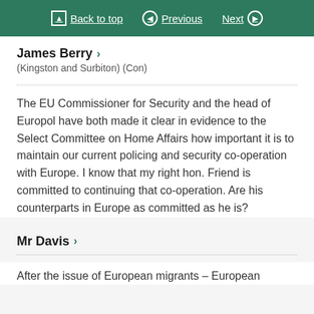Back to top | Previous | Next
James Berry > (Kingston and Surbiton) (Con)
The EU Commissioner for Security and the head of Europol have both made it clear in evidence to the Select Committee on Home Affairs how important it is to maintain our current policing and security co-operation with Europe. I know that my right hon. Friend is committed to continuing that co-operation. Are his counterparts in Europe as committed as he is?
Mr Davis >
After the issue of European migrants – European